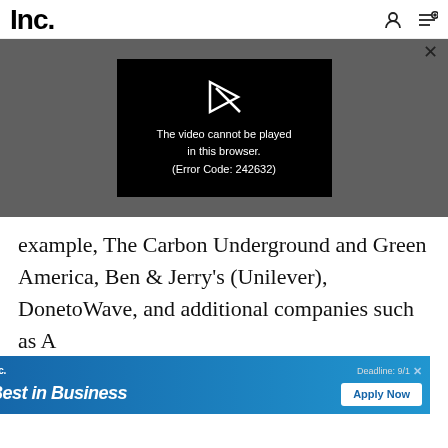Inc.
[Figure (screenshot): Video player showing error: The video cannot be played in this browser. (Error Code: 242632)]
example, The Carbon Underground and Green America, Ben & Jerry's (Unilever), DonetoWave, and additional companies such as A
[Figure (screenshot): Advertisement banner: Inc. Best in Business. Deadline: 9/1. Apply Now.]